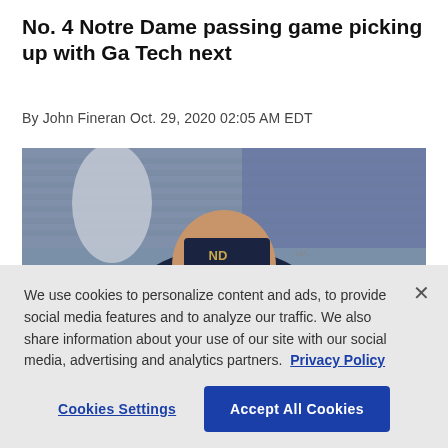No. 4 Notre Dame passing game picking up with Ga Tech next
By John Fineran Oct. 29, 2020 02:05 AM EDT
[Figure (photo): Photo of Notre Dame football coach wearing navy blue Notre Dame visor and sunglasses, looking upward, with stadium seating visible in the background]
We use cookies to personalize content and ads, to provide social media features and to analyze our traffic. We also share information about your use of our site with our social media, advertising and analytics partners. Privacy Policy
Cookies Settings
Accept All Cookies